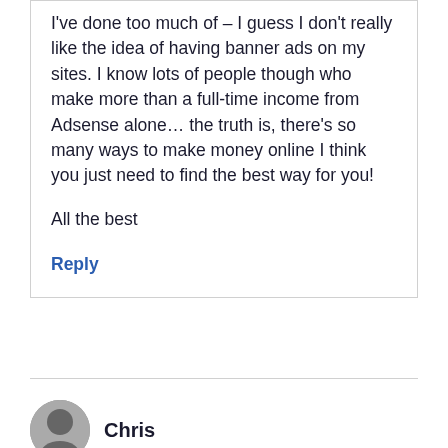I've done too much of – I guess I don't really like the idea of having banner ads on my sites. I know lots of people though who make more than a full-time income from Adsense alone… the truth is, there's so many ways to make money online I think you just need to find the best way for you!
All the best
Reply
Chris